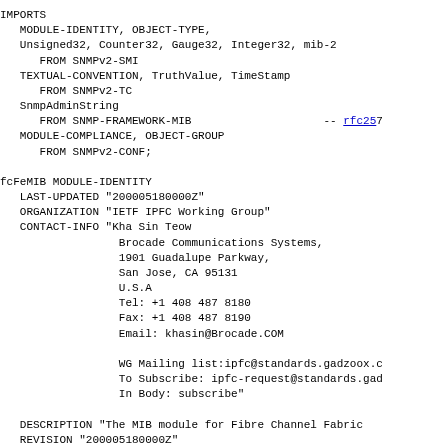IMPORTS
   MODULE-IDENTITY, OBJECT-TYPE,
   Unsigned32, Counter32, Gauge32, Integer32, mib-2
      FROM SNMPv2-SMI
   TEXTUAL-CONVENTION, TruthValue, TimeStamp
      FROM SNMPv2-TC
   SnmpAdminString
      FROM SNMP-FRAMEWORK-MIB                    -- rfc25...
   MODULE-COMPLIANCE, OBJECT-GROUP
      FROM SNMPv2-CONF;

fcFeMIB MODULE-IDENTITY
   LAST-UPDATED "200005180000Z"
   ORGANIZATION "IETF IPFC Working Group"
   CONTACT-INFO "Kha Sin Teow
               Brocade Communications Systems,
               1901 Guadalupe Parkway,
               San Jose, CA 95131
               U.S.A
               Tel: +1 408 487 8180
               Fax: +1 408 487 8190
               Email: khasin@Brocade.COM

               WG Mailing list:ipfc@standards.gadzoox.c...
               To Subscribe: ipfc-request@standards.gad...
               In Body: subscribe"

   DESCRIPTION "The MIB module for Fibre Channel Fabric...
   REVISION "200005180000Z"
   DESCRIPTION "Initial revision, published as RFC 2837...